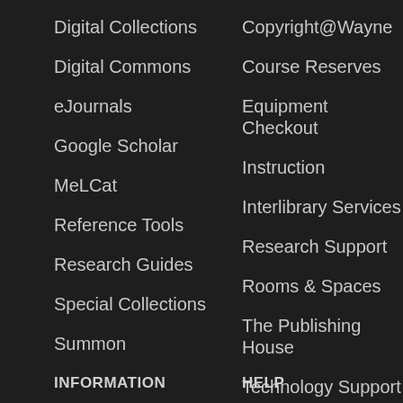Digital Collections
Digital Commons
eJournals
Google Scholar
MeLCat
Reference Tools
Research Guides
Special Collections
Summon
Copyright@Wayne
Course Reserves
Equipment Checkout
Instruction
Interlibrary Services
Research Support
Rooms & Spaces
The Publishing House
Technology Support
All Resources
All Services
INFORMATION
HELP